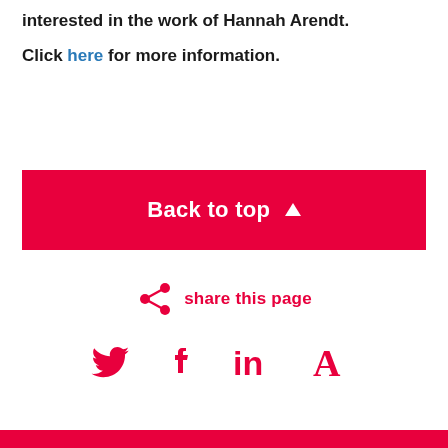interested in the work of Hannah Arendt.
Click here for more information.
Back to top ▲
share this page
[Figure (infographic): Social media icons: Twitter bird, Facebook f, LinkedIn in, Academia A — all in crimson red]